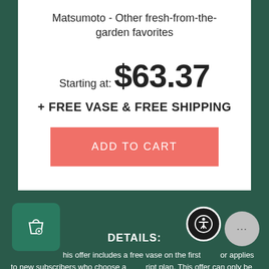Matsumoto - Other fresh-from-the-garden favorites
Starting at: $63.37
+ FREE VASE & FREE SHIPPING
ADD TO CART
DETAILS:
This offer includes a free vase on the first [order and] applies to new subscribers who choose a [subscri]ption plan. This offer can only be redeemed by entering the GETMYVASE code at the checkout page. This offer